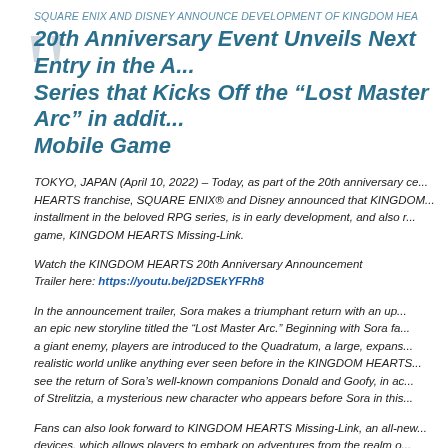SQUARE ENIX AND DISNEY ANNOUNCE DEVELOPMENT OF KINGDOM HEA...
20th Anniversary Event Unveils Next Entry in the A... Series that Kicks Off the “Lost Master Arc” in additi... Mobile Game
TOKYO, JAPAN (April 10, 2022) – Today, as part of the 20th anniversary ce... HEARTS franchise, SQUARE ENIX® and Disney announced that KINGDOM... installment in the beloved RPG series, is in early development, and also r... game, KINGDOM HEARTS Missing-Link.
Watch the KINGDOM HEARTS 20th Anniversary Announcement Trailer here: https://youtu.be/j2DSEkYFRh8
In the announcement trailer, Sora makes a triumphant return with an up... an epic new storyline titled the “Lost Master Arc.” Beginning with Sora fa... a giant enemy, players are introduced to the Quadratum, a large, expans... realistic world unlike anything ever seen before in the KINGDOM HEARTS... see the return of Sora’s well-known companions Donald and Goofy, in ac... of Strelitzia, a mysterious new character who appears before Sora in this...
Fans can also look forward to KINGDOM HEARTS Missing-Link, an all-new... devices, which allows players to embark on adventures from the realm o... world. Players will be able to engage in exhilarating battles against the...